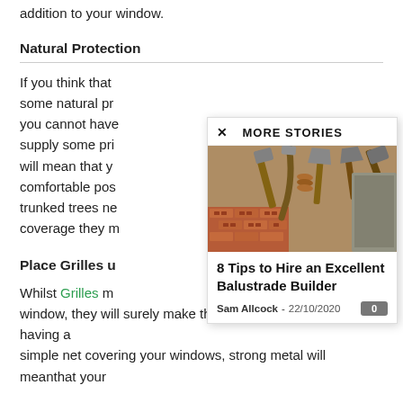addition to your window.
Natural Protection
If you think that some natural pr... you cannot have supply some pri... will mean that y... comfortable pos... trunked trees ne... coverage they r...
Place Grilles u
Whilst Grilles m... window, they will surely make the residence safe. Instead of having a simple net covering your windows, strong metal will meanthat your
[Figure (screenshot): Popup overlay showing 'MORE STORIES' with a close X button, an image of construction tools (hammers, trowels, bricks), article title '8 Tips to Hire an Excellent Balustrade Builder', author 'Sam Allcock', date '22/10/2020', and comment count badge '0']